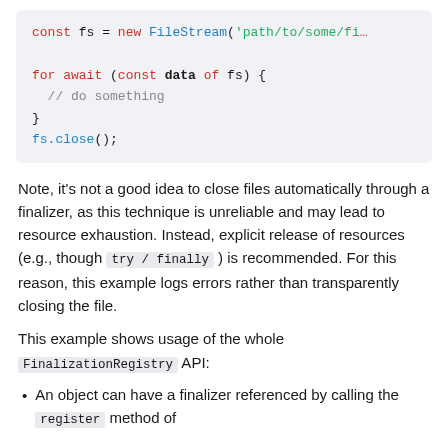[Figure (other): Code block showing: const fs = new FileStream('path/to/some/fi... | for await (const data of fs) { // do something } fs.close();]
Note, it's not a good idea to close files automatically through a finalizer, as this technique is unreliable and may lead to resource exhaustion. Instead, explicit release of resources (e.g., though try / finally ) is recommended. For this reason, this example logs errors rather than transparently closing the file.
This example shows usage of the whole FinalizationRegistry API:
An object can have a finalizer referenced by calling the register method of